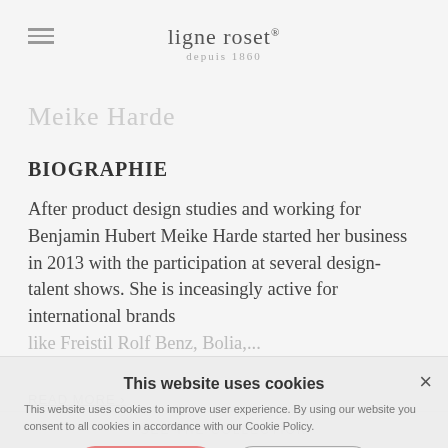ligne roset® depuis 1860
Meike Harde
BIOGRAPHIE
After product design studies and working for Benjamin Hubert Meike Harde started her business in 2013 with the participation at several design-talent shows. She is inceasingly active for international brands like Freistil Rolf Benz, Bolia,...
READ MORE >
This website uses cookies
This website uses cookies to improve user experience. By using our website you consent to all cookies in accordance with our Cookie Policy.
ACCEPT ALL
DECLINE ALL
SHOW DETAILS
SEE THE COLLECTION